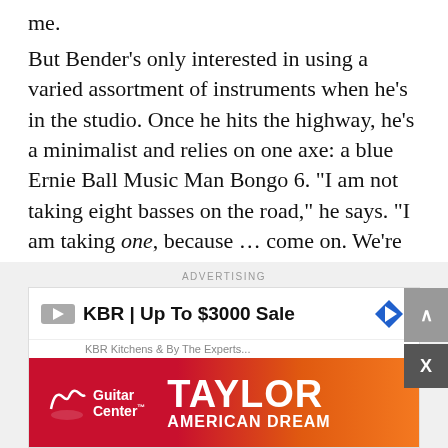me.
But Bender's only interested in using a varied assortment of instruments when he's in the studio. Once he hits the highway, he's a minimalist and relies on one axe: a blue Ernie Ball Music Man Bongo 6. "I am not taking eight basses on the road," he says. "I am taking one, because … come on. We're not at that level of touring yet where I've got some guy at the side of the stage waiting to run out to hand me another bass for this song. I am not in Radiohead, which would be fun, but that's the pragmatic reality of it."
[Figure (other): Advertisement banner: KBR | Up To $3000 Sale with Guitar Center Taylor American Dream advertisement]